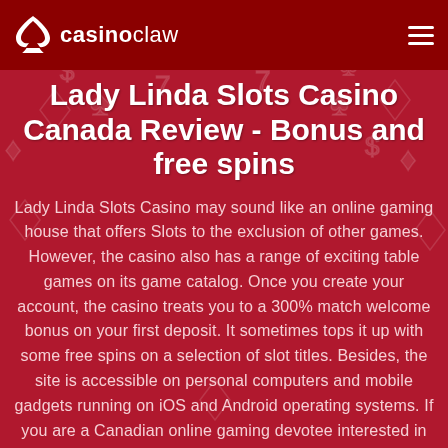casinoclaw
Lady Linda Slots Casino Canada Review - Bonus and free spins
Lady Linda Slots Casino may sound like an online gaming house that offers Slots to the exclusion of other games. However, the casino also has a range of exciting table games on its game catalog. Once you create your account, the casino treats you to a 300% match welcome bonus on your first deposit. It sometimes tops it up with some free spins on a selection of slot titles. Besides, the site is accessible on personal computers and mobile gadgets running on iOS and Android operating systems. If you are a Canadian online gaming devotee interested in knowing more about this casino, this review unpacks